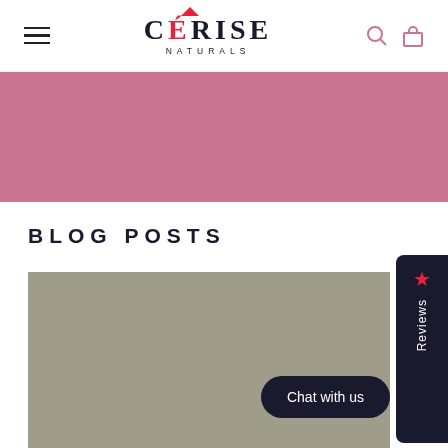CÉRISE NATURALS
[Figure (illustration): Pink/mauve banner background]
BLOG POSTS
[Figure (photo): Blog post image placeholder, olive/grey background]
Reviews
Chat with us